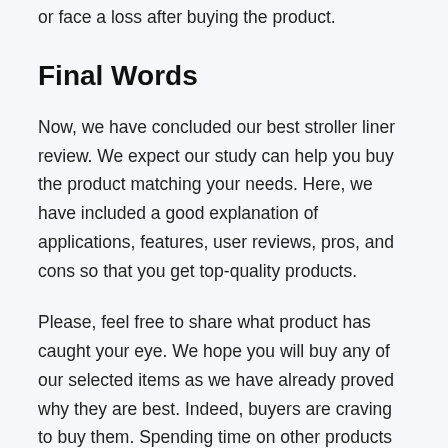or face a loss after buying the product.
Final Words
Now, we have concluded our best stroller liner review. We expect our study can help you buy the product matching your needs. Here, we have included a good explanation of applications, features, user reviews, pros, and cons so that you get top-quality products.
Please, feel free to share what product has caught your eye. We hope you will buy any of our selected items as we have already proved why they are best. Indeed, buyers are craving to buy them. Spending time on other products in confusion may make you delay or miss the right purchase. So,